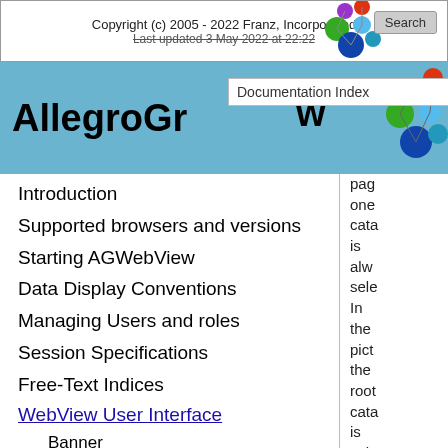Copyright (c) 2005 - 2022 Franz, Incorporated
Last updated 3 May 2022 at 22:22
AllegroGraph Documentation Index w
Introduction
Supported browsers and versions
Starting AGWebView
Data Display Conventions
Managing Users and roles
Session Specifications
Free-Text Indices
WebView User Interface
Banner
The settings page
User Management Page
The Requests page
page one cata is alw sele In the pict the root cata is sele and its two repo ken